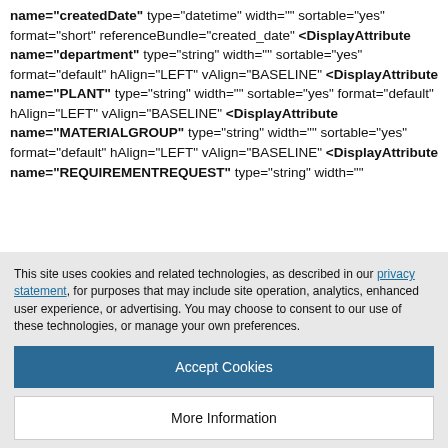name="createdDate" type="datetime" width="" sortable="yes" format="short" referenceBundle="created_date" <DisplayAttribute name="department" type="string" width="" sortable="yes" format="default" hAlign="LEFT" vAlign="BASELINE" <DisplayAttribute name="PLANT" type="string" width="" sortable="yes" format="default" hAlign="LEFT" vAlign="BASELINE" <DisplayAttribute name="MATERIALGROUP" type="string" width="" sortable="yes" format="default" hAlign="LEFT" vAlign="BASELINE" <DisplayAttribute name="REQUIREMENTREQUEST" type="string" width=""
This site uses cookies and related technologies, as described in our privacy statement, for purposes that may include site operation, analytics, enhanced user experience, or advertising. You may choose to consent to our use of these technologies, or manage your own preferences.
Accept Cookies
More Information
Privacy Policy | Powered by: TrustArc